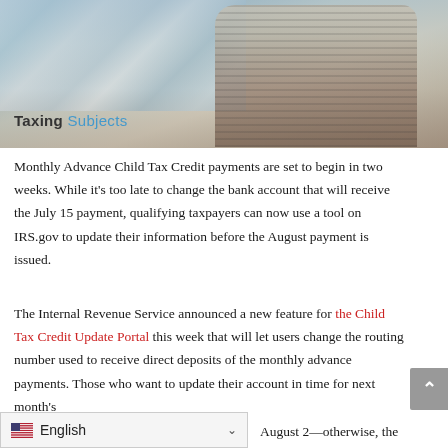[Figure (photo): Photo of a person at a beach with ocean waves in background, overlaid with the 'Taxing Subjects' logo text]
Monthly Advance Child Tax Credit payments are set to begin in two weeks. While it's too late to change the bank account that will receive the July 15 payment, qualifying taxpayers can now use a tool on IRS.gov to update their information before the August payment is issued.
The Internal Revenue Service announced a new feature for the Child Tax Credit Update Portal this week that will let users change the routing number used to receive direct deposits of the monthly advance payments. Those who want to update their account in time for next month's [payment] must do so by August 2—otherwise, the